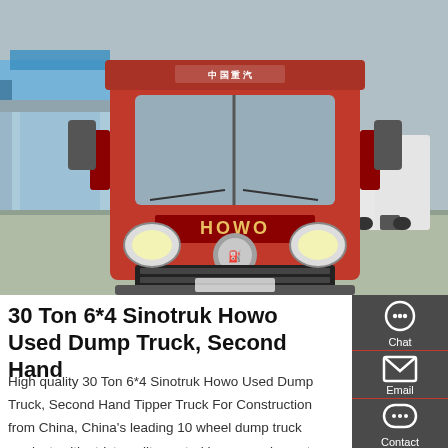[Figure (photo): Front view of a red HOWO Sinotruk heavy dump truck parked in a truck yard with other white trucks in the background. The truck has 'HOWO' branding on the hood and Chinese characters on the front visor. Blue warehouse buildings visible in the background.]
30 Ton 6*4 Sinotruk Howo Used Dump Truck, Second Hand
High quality 30 Ton 6*4 Sinotruk Howo Used Dump Truck, Second Hand Tipper Truck For Construction from China, China's leading 10 wheel dump truck product, with strict quality control heavy equipment dump truck factories,